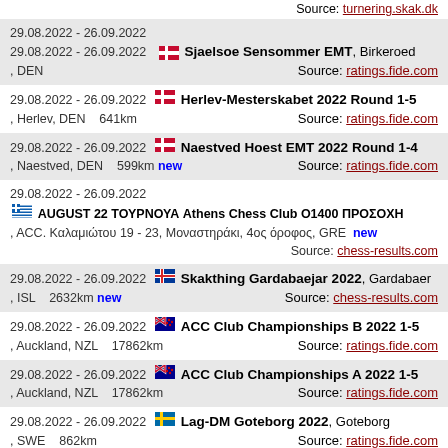Source: turnering.skak.dk
29.08.2022 - 26.09.2022 | Sjaelsoe Sensommer EMT, Birkeroed, DEN | Source: ratings.fide.com
29.08.2022 - 26.09.2022 | Herlev-Mesterskabet 2022 Round 1-5, Herlev, DEN 641km | Source: ratings.fide.com
29.08.2022 - 26.09.2022 | Naestved Hoest EMT 2022 Round 1-4, Naestved, DEN 599km new | Source: ratings.fide.com
29.08.2022 - 26.09.2022 | AUGUST 22 ΤΟΥΡΝΟΥΑ Athens Chess Club O1400 ΠΡΟΣΟΧΗ, ACC. Καλαμιώτου 19 - 23, Μοναστηράκι, 4ος όροφος, GRE new | Source: chess-results.com
29.08.2022 - 26.09.2022 | Skakthing Gardabaejar 2022, Gardabaer, ISL 2632km new | Source: chess-results.com
29.08.2022 - 26.09.2022 | ACC Club Championships B 2022 1-5, Auckland, NZL 17862km | Source: ratings.fide.com
29.08.2022 - 26.09.2022 | ACC Club Championships A 2022 1-5, Auckland, NZL 17862km | Source: ratings.fide.com
29.08.2022 - 26.09.2022 | Lag-DM Goteborg 2022, Goteborg, SWE 862km | Source: ratings.fide.com
29.08.2022 - 02.10.2022 | Trofeo Coni 2022, Chianciano Terme, ITA new | Source: federscacchi.it
29.08.2022 - 10.10.2022 | Odense Skakklub Sensommer Turnering 2022,, DEN